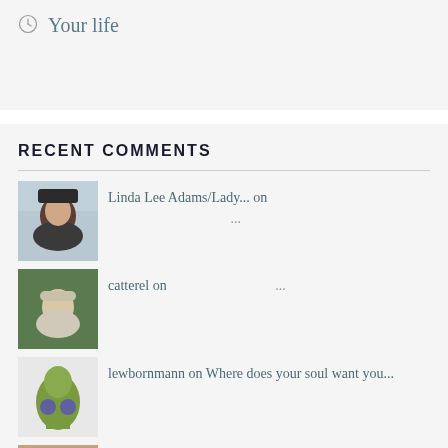Your life
RECENT COMMENTS
Linda Lee Adams/Lady... on ...
catterel on ...
lewbornmann on Where does your soul want you...
oldandblessed on Hurrying up isn't a priori...
lewbornmann on Pomp and circumstan...